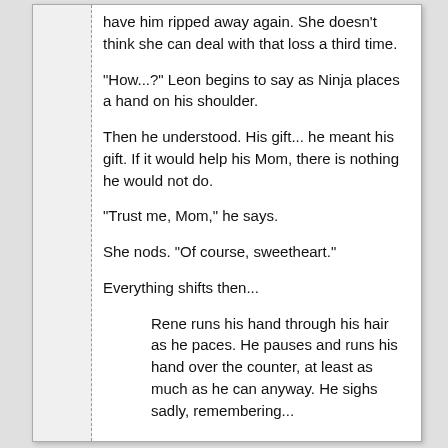have him ripped away again. She doesn't think she can deal with that loss a third time.
"How...?" Leon begins to say as Ninja places a hand on his shoulder.
Then he understood. His gift... he meant his gift. If it would help his Mom, there is nothing he would not do.
"Trust me, Mom," he says.
She nods. "Of course, sweetheart."
Everything shifts then...
Rene runs his hand through his hair as he paces. He pauses and runs his hand over the counter, at least as much as he can anyway. He sighs sadly, remembering...